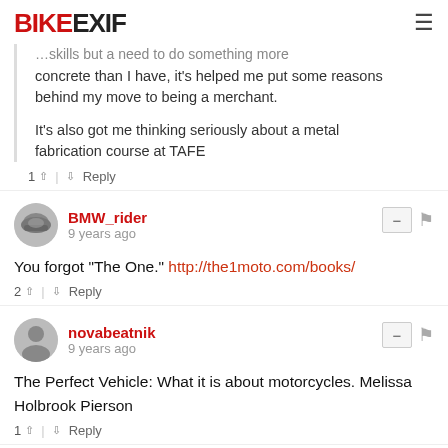BIKEEXIF
...behind my move to being a merchant.

It's also got me thinking seriously about a metal fabrication course at TAFE
1 ^ | v Reply
BMW_rider
9 years ago
You forgot "The One." http://the1moto.com/books/
2 ^ | v Reply
novabeatnik
9 years ago
The Perfect Vehicle: What it is about motorcycles. Melissa Holbrook Pierson
1 ^ | v Reply
JZ
9 years ago
The Ride Tear...